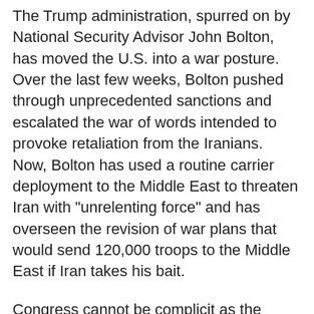The Trump administration, spurred on by National Security Advisor John Bolton, has moved the U.S. into a war posture. Over the last few weeks, Bolton pushed through unprecedented sanctions and escalated the war of words intended to provoke retaliation from the Iranians. Now, Bolton has used a routine carrier deployment to the Middle East to threaten Iran with "unrelenting force" and has overseen the revision of war plans that would send 120,000 troops to the Middle East if Iran takes his bait.
Congress cannot be complicit as the playbook for the 2003 invasion of Iraq [obscured] eyes. The administration [obscured] politicized intelligence on Iran's nuclear program, and falsely asserts ties between Iran and al-Qaeda. Worryingly, the administration does not perceive
[Figure (other): Donate to CLW button overlay — a dark navy rounded rectangle with a gold/yellow border, containing a circle-dollar icon and the bold text 'Donate to CLW' in grey-blue.]